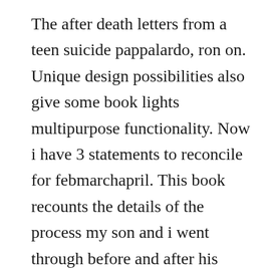The after death letters from a teen suicide pappalardo, ron on. Unique design possibilities also give some book lights multipurpose functionality. Now i have 3 statements to reconcile for febmarchapril. This book recounts the details of the process my son and i went through before and after his death that took us on a path to healing, reconciliation, and peace. This compact batteryoperated led light clips securely onto your book or laptop to give you extra light when and where you need it. I havent